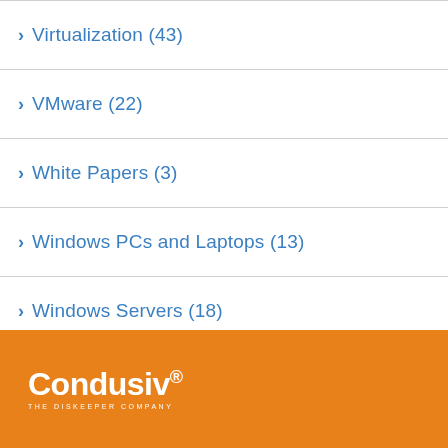Virtualization (43)
VMware (22)
White Papers (3)
Windows PCs and Laptops (13)
Windows Servers (18)
Without increasing IT Budget (3)
[Figure (logo): Condusiv logo with tagline 'THE DISKEEPER COMPANY' on orange background]